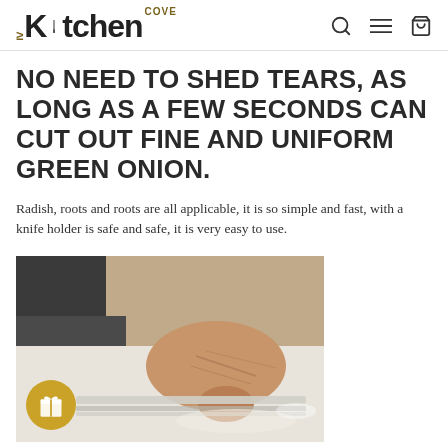My Kitchen Cove
NO NEED TO SHED TEARS, AS LONG AS A FEW SECONDS CAN CUT OUT FINE AND UNIFORM GREEN ONION.
Radish, roots and roots are all applicable, it is so simple and fast, with a knife holder is safe and safe, it is very easy to use.
[Figure (photo): A hand pressing down on a kitchen cutting tool/mandoline slicer on a white surface, with a gift badge icon overlay in the lower left corner.]